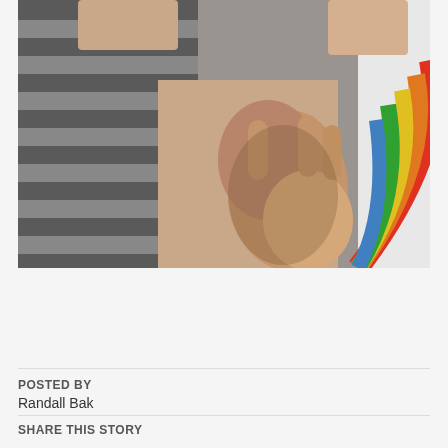[Figure (photo): Two people holding hands, one wearing a grey striped shirt and the other wearing a white t-shirt with a rainbow arc design. Photo is a close-up showing their clasped hands in the center.]
Free to be you and me? A ‘pulse check’ of LGBTIQA+ rights in…
POSTED BY
Randall Bak
SHARE THIS STORY